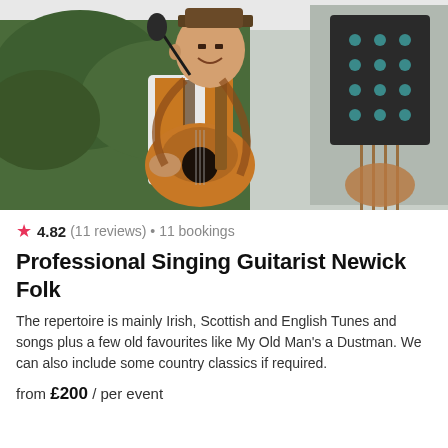[Figure (photo): A man wearing a brown hat playing an acoustic guitar and singing into a microphone at an outdoor event, with a double bass visible in the background.]
4.82 (11 reviews) • 11 bookings
Professional Singing Guitarist Newick Folk
The repertoire is mainly Irish, Scottish and English Tunes and songs plus a few old favourites like My Old Man's a Dustman. We can also include some country classics if required.
from £200 / per event